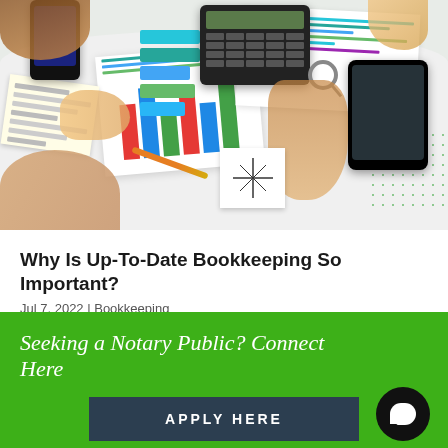[Figure (photo): Overhead view of people working at a desk with charts, bar graphs, a calculator, smartphones, a tablet, sticky notes, and a notepad — a bookkeeping/finance meeting scene]
Why Is Up-To-Date Bookkeeping So Important?
Jul 7, 2022 | Bookkeeping
Seeking a Notary Public? Connect Here
APPLY HERE